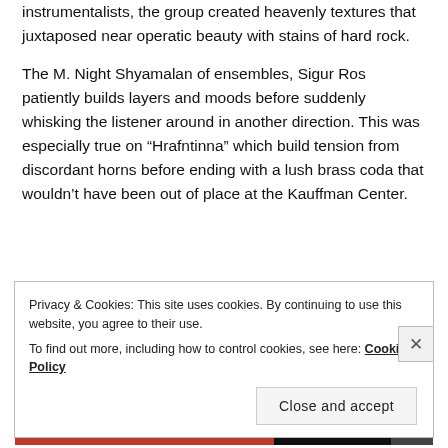instrumentalists, the group created heavenly textures that juxtaposed near operatic beauty with stains of hard rock.
The M. Night Shyamalan of ensembles, Sigur Ros patiently builds layers and moods before suddenly whisking the listener around in another direction. This was especially true on “Hrafntinna” which build tension from discordant horns before ending with a lush brass coda that wouldn’t have been out of place at the Kauffman Center.
Privacy & Cookies: This site uses cookies. By continuing to use this website, you agree to their use. To find out more, including how to control cookies, see here: Cookie Policy